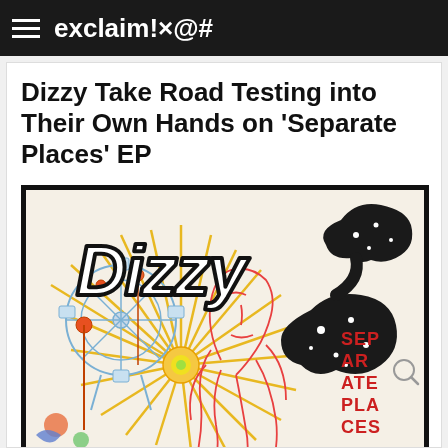exclaim!×@#
Dizzy Take Road Testing into Their Own Hands on 'Separate Places' EP
[Figure (illustration): Album cover art for Dizzy's 'Separate Places' EP showing the word 'Dizzy' in large black outlined lettering with a starburst sun, a ferris wheel, a woman's face in outline with flowing hair, a black cloud-like shape with stars, and the text 'SEPARATE PLACES' in red letters, all on a cream background with yellow rays radiating outward.]